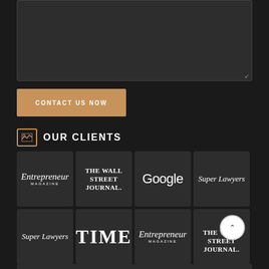[Figure (screenshot): Dark textarea input box with resize handle in bottom right corner]
CONTACT US NOW
OUR CLIENTS
[Figure (logo): Grid of client logos: Row 1: Entrepreneur Magazine, The Wall Street Journal, Google, Super Lawyers. Row 2: Super Lawyers, TIME, Entrepreneur Magazine, The Wall Street Journal (with scroll-to-top button overlay). Row 3: partially visible strip.]